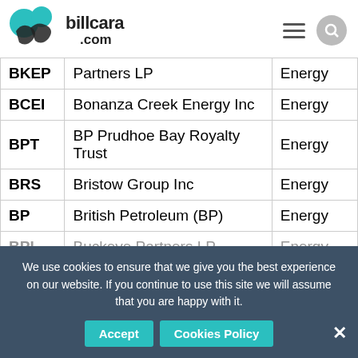billcara.com
| Symbol | Company | Sector |
| --- | --- | --- |
| BKEP | Partners LP | Energy |
| BCEI | Bonanza Creek Energy Inc | Energy |
| BPT | BP Prudhoe Bay Royalty Trust | Energy |
| BRS | Bristow Group Inc | Energy |
| BP | British Petroleum (BP) | Energy |
| BPL | Buckeye Partners LP | Energy |
We use cookies to ensure that we give you the best experience on our website. If you continue to use this site we will assume that you are happy with it.
Accept   Cookies Policy